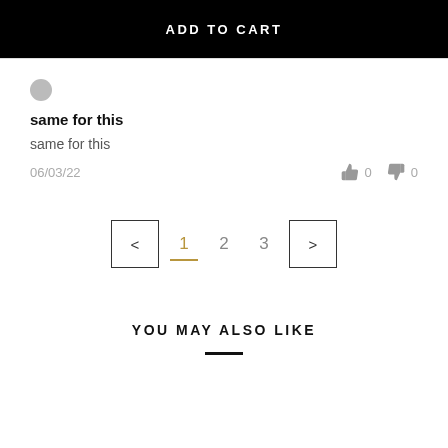ADD TO CART
same for this
same for this
06/03/22
0   0
< 1 2 3 >
YOU MAY ALSO LIKE